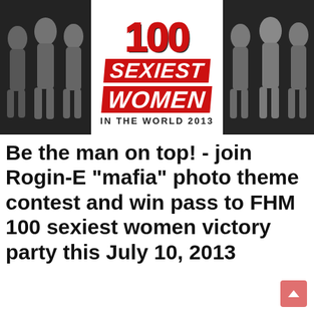[Figure (illustration): FHM 100 Sexiest Women in the World 2013 magazine cover or promotional image. Center panel shows red bold text '100 SEXIEST WOMEN IN THE WORLD 2013' on white background. Left and right panels show black and white photos of women in swimwear/bikinis.]
Be the man on top! - join Rogin-E "mafia" photo theme contest and win pass to FHM 100 sexiest women victory party this July 10, 2013